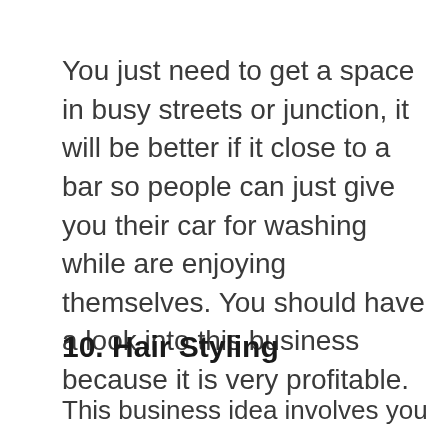You just need to get a space in busy streets or junction, it will be better if it close to a bar so people can just give you their car for washing while are enjoying themselves. You should have a look into this business because it is very profitable.
10. Hair Styling
This business idea involves you being